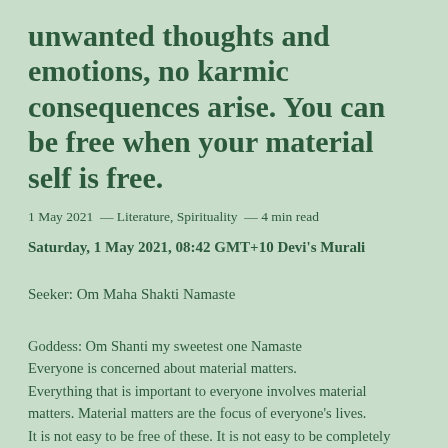unwanted thoughts and emotions, no karmic consequences arise. You can be free when your material self is free.
1 May 2021 — Literature, Spirituality — 4 min read
Saturday, 1 May 2021, 08:42 GMT+10 Devi's Murali
Seeker: Om Maha Shakti Namaste
Goddess: Om Shanti my sweetest one Namaste Everyone is concerned about material matters. Everything that is important to everyone involves material matters. Material matters are the focus of everyone's lives. It is not easy to be free of these. It is not easy to be completely detached from these.
One must continue to practise removing these. One must